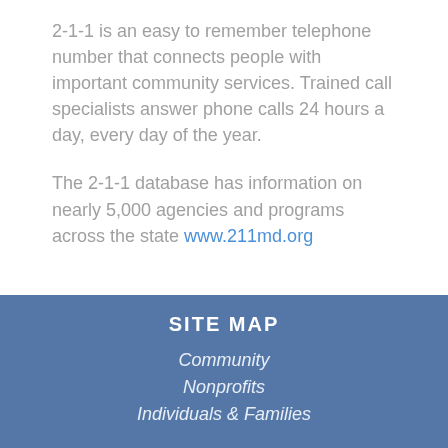2-1-1 is an easy to remember telephone number that connects people with important community services. Trained call specialists answer phone calls 24 hours a day, every day of the year.
The 2-1-1 database has information on nearly 5,000 agencies and programs across the state www.211md.org
SITE MAP
Community
Nonprofits
Individuals & Families